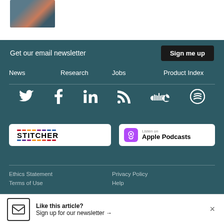[Figure (photo): Partial cropped photo visible at top of page]
Get our email newsletter   Sign me up
News   Research   Jobs   Product Index
[Figure (other): Social media icons: Twitter, Facebook, LinkedIn, RSS, SoundCloud, Spotify]
[Figure (logo): Stitcher podcast badge]
[Figure (logo): Listen on Apple Podcasts badge]
Ethics Statement   Privacy Policy
Terms of Use   Help
© 2023 International Society for Technology...
Like this article? Sign up for our newsletter →